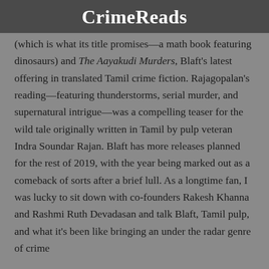CrimeReads
(which is what its title promises—a math book featuring dinosaurs) and The Aayakudi Murders, Blaft's latest offering in translated Tamil crime fiction. Rajagopalan's reading—featuring thunderstorms, serial murder, and supernatural intrigue—was a compelling teaser for the wild tale originally written in Tamil by pulp veteran Indra Soundar Rajan. Blaft has more releases planned for the rest of 2019, with the year being marked out as a comeback of sorts after a brief lull. As a longtime fan, I was lucky to sit down with co-founders Rakesh Khanna and Rashmi Ruth Devadasan and talk Blaft, Tamil pulp, and what it's been like bringing an under the radar genre of crime